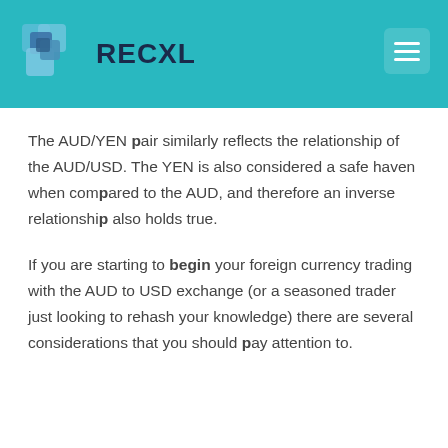RECXL
The AUD/YEN pair similarly reflects the relationship of the AUD/USD. The YEN is also considered a safe haven when compared to the AUD, and therefore an inverse relationship also holds true.
If you are starting to begin your foreign currency trading with the AUD to USD exchange (or a seasoned trader just looking to rehash your knowledge) there are several considerations that you should pay attention to.